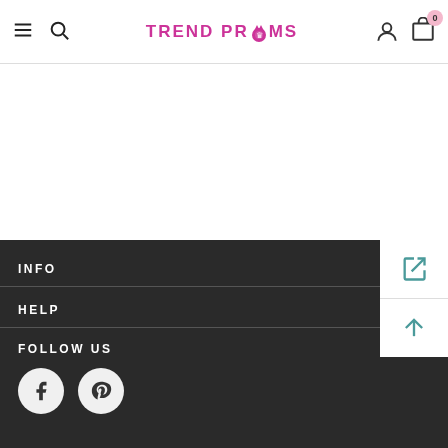TREND PROMS — navigation header with hamburger menu, search, logo, user account, and cart (0)
INFO
HELP
FOLLOW US
[Figure (logo): Facebook and Pinterest social media icon circles in the footer]